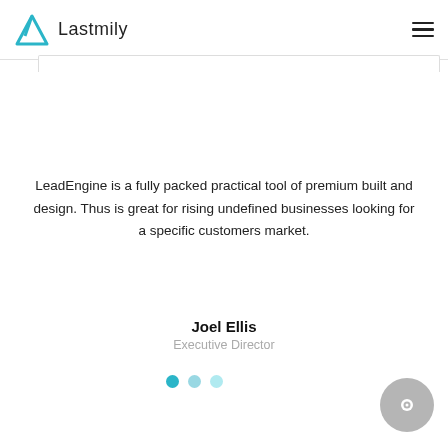Lastmily
LeadEngine is a fully packed practical tool of premium built and design. Thus is great for rising undefined businesses looking for a specific customers market.
Joel Ellis
Executive Director